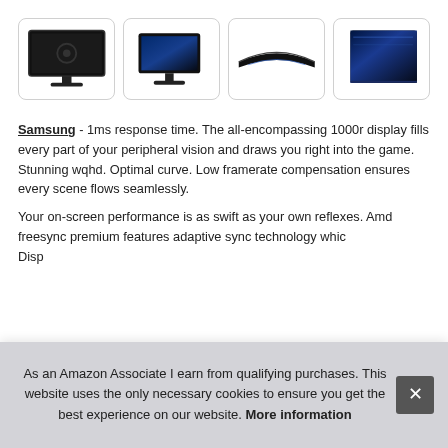[Figure (photo): Row of four product thumbnail images showing Samsung curved gaming monitor from different angles]
Samsung - 1ms response time. The all-encompassing 1000r display fills every part of your peripheral vision and draws you right into the game. Stunning wqhd. Optimal curve. Low framerate compensation ensures every scene flows seamlessly.
Your on-screen performance is as swift as your own reflexes. Amd freesync premium features adaptive sync technology which... Disp...
As an Amazon Associate I earn from qualifying purchases. This website uses the only necessary cookies to ensure you get the best experience on our website. More information